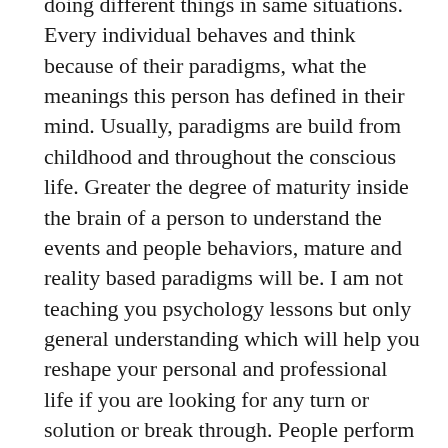doing different things in same situations. Every individual behaves and think because of their paradigms, what the meanings this person has defined in their mind. Usually, paradigms are build from childhood and throughout the conscious life. Greater the degree of maturity inside the brain of a person to understand the events and people behaviors, mature and reality based paradigms will be. I am not teaching you psychology lessons but only general understanding which will help you reshape your personal and professional life if you are looking for any turn or solution or break through. People perform